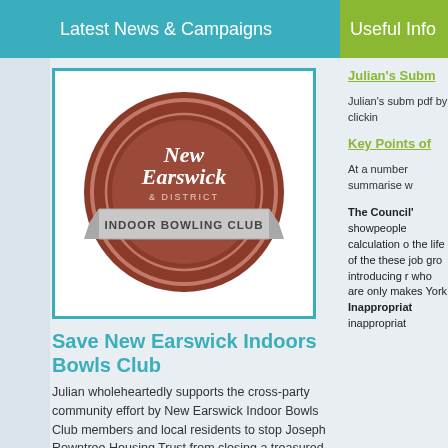Latest News & Campaigns
Useful Info
[Figure (logo): New Earswick & District Indoor Bowling Club logo — circular brown badge with text 'New Earswick & DISTRICT' and a banner reading 'INDOOR BOWLING CLUB']
Save New Earswick Indoors Bowls Club
Julian wholeheartedly supports the cross-party community effort by New Earswick Indoor Bowls Club members and local residents to stop Joseph Rowntree Housing Trust from closing a treasured community asset in pursuit of portfolio
Julian's Subm
Julian's subm pdf by clickin
Key Points of
At a number summarise w
The Council' showpeople calculation o the life of the these job gro introducing r who are only makes York Inappropriate inappropriat